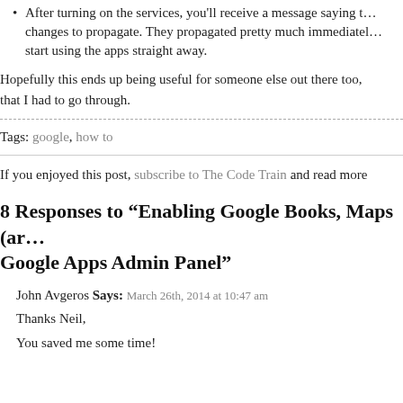After turning on the services, you'll receive a message saying that it may take some time for changes to propagate. They propagated pretty much immediately for me, and I was able to start using the apps straight away.
Hopefully this ends up being useful for someone else out there too, and saves some of the pain that I had to go through.
Tags: google, how to
If you enjoyed this post, subscribe to The Code Train and read more
8 Responses to “Enabling Google Books, Maps (and more) from the Google Apps Admin Panel”
John Avgeros Says: March 26th, 2014 at 10:47 am
Thanks Neil,
You saved me some time!